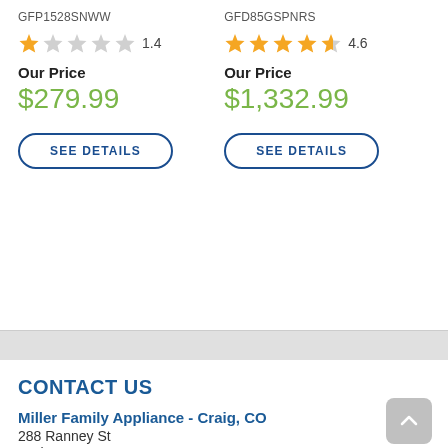GFP1528SNWW
GFD85GSPNRS
★★☆☆☆ 1.4
★★★★☆ 4.6
Our Price
$279.99
Our Price
$1,332.99
SEE DETAILS
SEE DETAILS
CONTACT US
Miller Family Appliance - Craig, CO
288 Ranney St
Craig, CO 81625